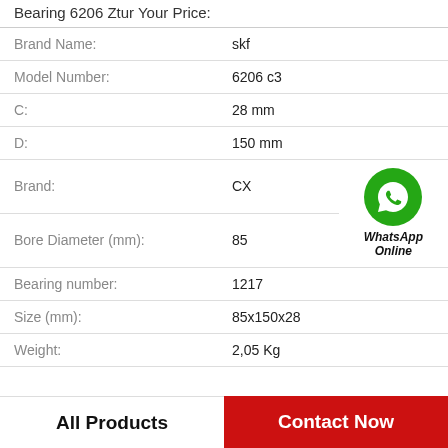Bearing 6206 Ztur Your Price:
| Property | Value |
| --- | --- |
| Brand Name: | skf |
| Model Number: | 6206 c3 |
| C: | 28 mm |
| D: | 150 mm |
| Brand: | CX |
| Bore Diameter (mm): | 85 |
| Bearing number: | 1217 |
| Size (mm): | 85x150x28 |
| Weight: | 2,05 Kg |
[Figure (logo): WhatsApp Online green circle icon with phone handset]
All Products
Contact Now